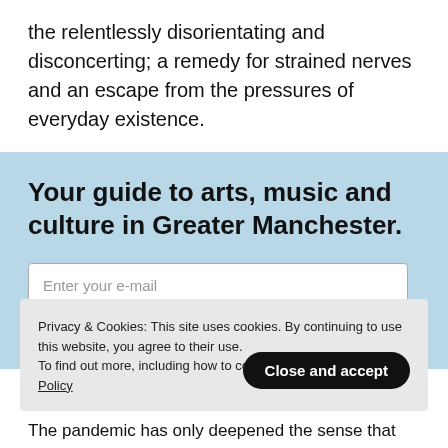the relentlessly disorientating and disconcerting; a remedy for strained nerves and an escape from the pressures of everyday existence.
Your guide to arts, music and culture in Greater Manchester.
[Figure (screenshot): Email newsletter signup box with placeholder text 'Enter your e-mail' and a partial white button below]
Privacy & Cookies: This site uses cookies. By continuing to use this website, you agree to their use. To find out more, including how to cont… Policy
Close and accept
The pandemic has only deepened the sense that